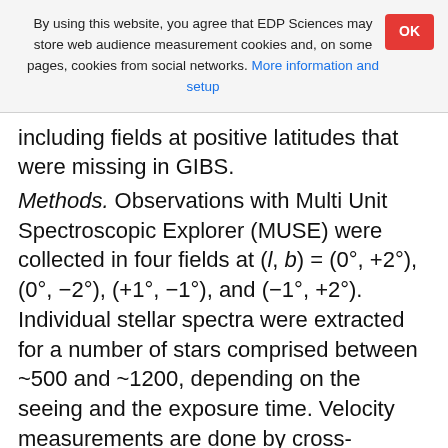By using this website, you agree that EDP Sciences may store web audience measurement cookies and, on some pages, cookies from social networks. More information and setup
including fields at positive latitudes that were missing in GIBS.
Methods. Observations with Multi Unit Spectroscopic Explorer (MUSE) were collected in four fields at (l, b) = (0°, +2°), (0°, −2°), (+1°, −1°), and (−1°, +2°). Individual stellar spectra were extracted for a number of stars comprised between ~500 and ~1200, depending on the seeing and the exposure time. Velocity measurements are done by cross-correlating observed stellar spectra in the CaT region with a synthetic template, and velocity errors are obtained through Monte